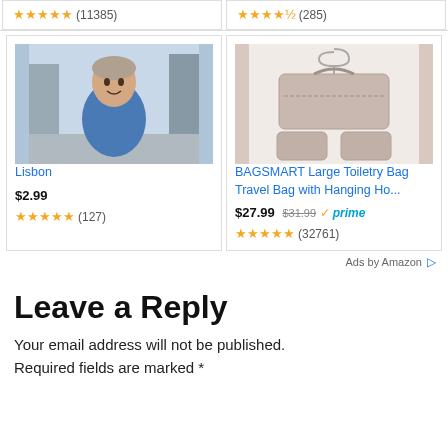[Figure (other): Star rating: 4.5 stars (11385 reviews)]
[Figure (other): Star rating: 4 stars (285 reviews)]
[Figure (photo): Photo of a man in a blue shirt standing in a European street (Lisbon)]
Lisbon
$2.99
[Figure (other): Star rating: 4.5 stars (127 reviews)]
[Figure (photo): Photo of a BAGSMART Large Toiletry Bag - pink/beige hanging travel bag with multiple compartments]
BAGSMART Large Toiletry Bag Travel Bag with Hanging Ho...
$27.99 $31.99 prime
[Figure (other): Star rating: 5 stars (32761 reviews)]
Ads by Amazon ▷
Leave a Reply
Your email address will not be published. Required fields are marked *